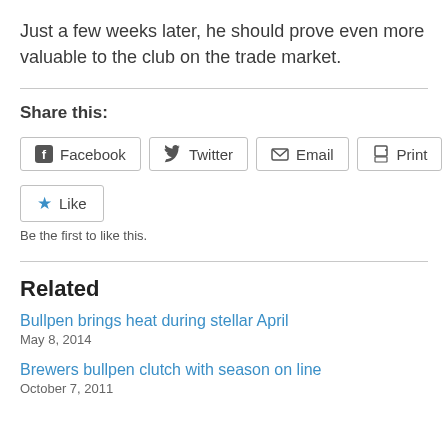Just a few weeks later, he should prove even more valuable to the club on the trade market.
Share this:
[Figure (other): Share buttons: Facebook, Twitter, Email, Print]
[Figure (other): Like button with star icon]
Be the first to like this.
Related
Bullpen brings heat during stellar April
May 8, 2014
Brewers bullpen clutch with season on line
October 7, 2011